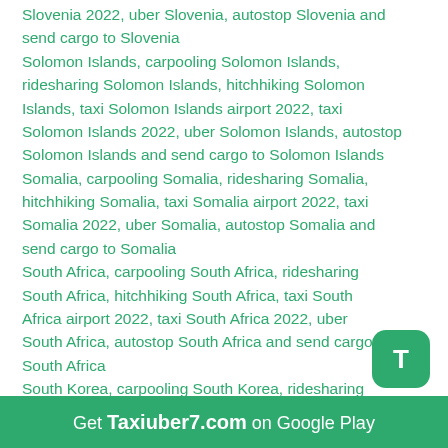Slovenia 2022, uber Slovenia, autostop Slovenia and send cargo to Slovenia
Solomon Islands, carpooling Solomon Islands, ridesharing Solomon Islands, hitchhiking Solomon Islands, taxi Solomon Islands airport 2022, taxi Solomon Islands 2022, uber Solomon Islands, autostop Solomon Islands and send cargo to Solomon Islands
Somalia, carpooling Somalia, ridesharing Somalia, hitchhiking Somalia, taxi Somalia airport 2022, taxi Somalia 2022, uber Somalia, autostop Somalia and send cargo to Somalia
South Africa, carpooling South Africa, ridesharing South Africa, hitchhiking South Africa, taxi South Africa airport 2022, taxi South Africa 2022, uber South Africa, autostop South Africa and send cargo to South Africa
South Korea, carpooling South Korea, ridesharing South Korea, hitchhiking South Korea, taxi South Korea airport 2022, taxi South Korea 2022, uber South Korea, autostop South Korea and send cargo to South Korea
Spain, carpooling Spain, ridesharing Spain, hitchhiking Spain, taxi Spain airport 2022, taxi Spain 2022, uber Spain, autostop Spain and send cargo to Spain
Get Taxiuber7.com on Google Play